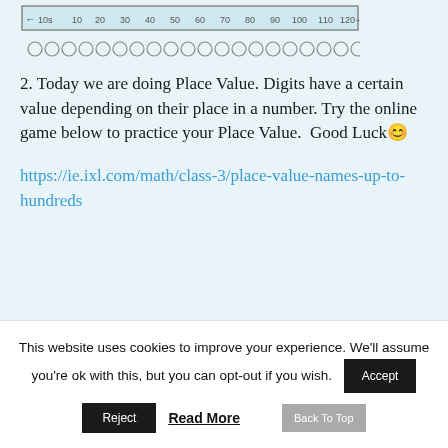[Figure (other): Number line showing intervals from 10s to 120, with circles below each interval]
2. Today we are doing Place Value. Digits have a certain value depending on their place in a number. Try the online game below to practice your Place Value.  Good Luck😊
https://ie.ixl.com/math/class-3/place-value-names-up-to-hundreds
This website uses cookies to improve your experience. We'll assume you're ok with this, but you can opt-out if you wish.
Accept
Reject
Read More
Back To Top